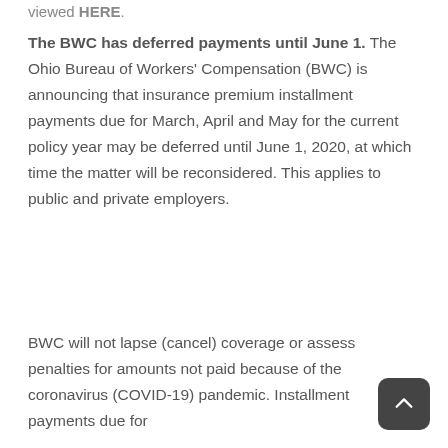viewed HERE.
The BWC has deferred payments until June 1. The Ohio Bureau of Workers' Compensation (BWC) is announcing that insurance premium installment payments due for March, April and May for the current policy year may be deferred until June 1, 2020, at which time the matter will be reconsidered. This applies to public and private employers.
BWC will not lapse (cancel) coverage or assess penalties for amounts not paid because of the coronavirus (COVID-19) pandemic. Installment payments due for